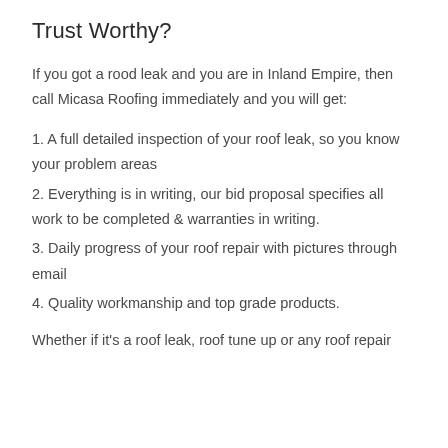Trust Worthy?
If you got a rood leak and you are in Inland Empire, then call Micasa Roofing immediately and you will get:
1. A full detailed inspection of your roof leak, so you know your problem areas
2. Everything is in writing, our bid proposal specifies all work to be completed & warranties in writing.
3. Daily progress of your roof repair with pictures through email
4. Quality workmanship and top grade products.
Whether if it's a roof leak, roof tune up or any roof repair